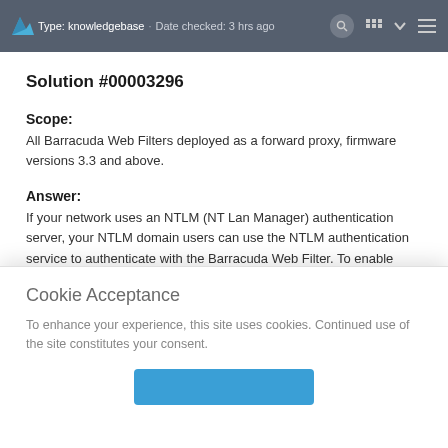Type: Knowledgebase · Date checked: 3 hours ago
Solution #00003296
Scope:
All Barracuda Web Filters deployed as a forward proxy, firmware versions 3.3 and above.
Answer:
If your network uses an NTLM (NT Lan Manager) authentication server, your NTLM domain users can use the NTLM authentication service to authenticate with the Barracuda Web Filter. To enable transparent proxy authentication using your
Cookie Acceptance
To enhance your experience, this site uses cookies. Continued use of the site constitutes your consent.